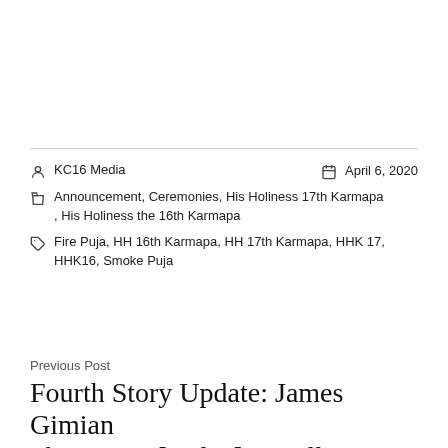KC16 Media   April 6, 2020
Announcement, Ceremonies, His Holiness 17th Karmapa, His Holiness the 16th Karmapa
Fire Puja, HH 16th Karmapa, HH 17th Karmapa, HHK 17, HHK16, Smoke Puja
Previous Post
Fourth Story Update: James Gimian Shares His [Video] Recollections